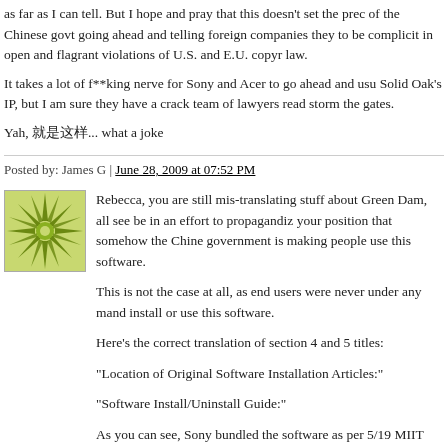as far as I can tell. But I hope and pray that this doesn't set the prec of the Chinese govt going ahead and telling foreign companies they to be complicit in open and flagrant violations of U.S. and E.U. copyr law.
It takes a lot of f**king nerve for Sony and Acer to go ahead and usu Solid Oak's IP, but I am sure they have a crack team of lawyers read storm the gates.
Yah, 就是这样... what a joke
Posted by: James G | June 28, 2009 at 07:52 PM
[Figure (illustration): Green/yellow geometric starburst avatar icon on white background]
Rebecca, you are still mis-translating stuff about Green Dam, all see be in an effort to propagandiz your position that somehow the Chine government is making people use this software.
This is not the case at all, as end users were never under any mand install or use this software.
Here's the correct translation of section 4 and 5 titles:
"Location of Original Software Installation Articles:"
"Software Install/Uninstall Guide:"
As you can see, Sony bundled the software as per 5/19 MIIT announcement, but did not install it. That choice is still freely up to th users.